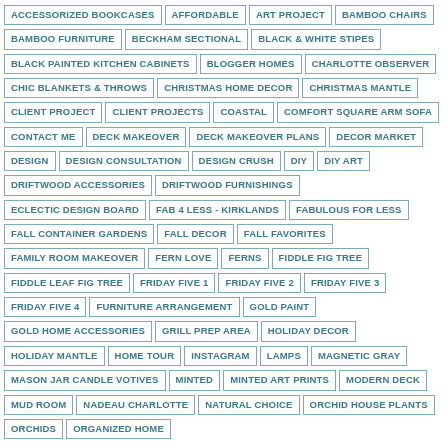ACCESSORIZED BOOKCASES
AFFORDABLE
ART PROJECT
BAMBOO CHAIRS
BAMBOO FURNITURE
BECKHAM SECTIONAL
BLACK & WHITE STIPES
BLACK PAINTED KITCHEN CABINETS
BLOGGER HOMES
CHARLOTTE OBSERVER
CHIC BLANKETS & THROWS
CHRISTMAS HOME DECOR
CHRISTMAS MANTLE
CLIENT PROJECT
CLIENT PROJECTS
COASTAL
COMFORT SQUARE ARM SOFA
CONTACT ME
DECK MAKEOVER
DECK MAKEOVER PLANS
DECOR MARKET
DESIGN
DESIGN CONSULTATION
DESIGN CRUSH
DIY
DIY ART
DRIFTWOOD ACCESSORIES
DRIFTWOOD FURNISHINGS
ECLECTIC DESIGN BOARD
FAB 4 LESS - KIRKLANDS
FABULOUS FOR LESS
FALL CONTAINER GARDENS
FALL DECOR
FALL FAVORITES
FAMILY ROOM MAKEOVER
FERN LOVE
FERNS
FIDDLE FIG TREE
FIDDLE LEAF FIG TREE
FRIDAY FIVE 1
FRIDAY FIVE 2
FRIDAY FIVE 3
FRIDAY FIVE 4
FURNITURE ARRANGEMENT
GOLD PAINT
GOLD HOME ACCESSORIES
GRILL PREP AREA
HOLIDAY DECOR
HOLIDAY MANTLE
HOME TOUR
INSTAGRAM
LAMPS
MAGNETIC GRAY
MASON JAR CANDLE VOTIVES
MINTED
MINTED ART PRINTS
MODERN DECK
MUD ROOM
NADEAU CHARLOTTE
NATURAL CHOICE
ORCHID HOUSE PLANTS
ORCHIDS
ORGANIZED HOME